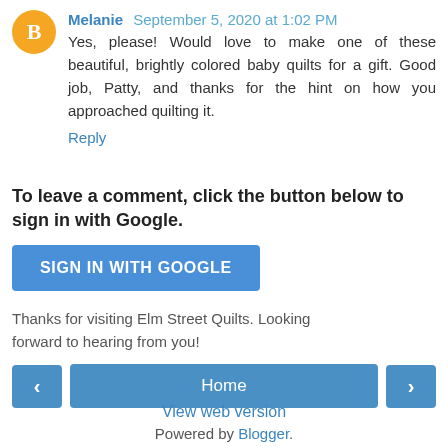Melanie  September 5, 2020 at 1:02 PM
Yes, please! Would love to make one of these beautiful, brightly colored baby quilts for a gift. Good job, Patty, and thanks for the hint on how you approached quilting it.
Reply
To leave a comment, click the button below to sign in with Google.
SIGN IN WITH GOOGLE
Thanks for visiting Elm Street Quilts. Looking forward to hearing from you!
< Home >
View web version
Powered by Blogger.